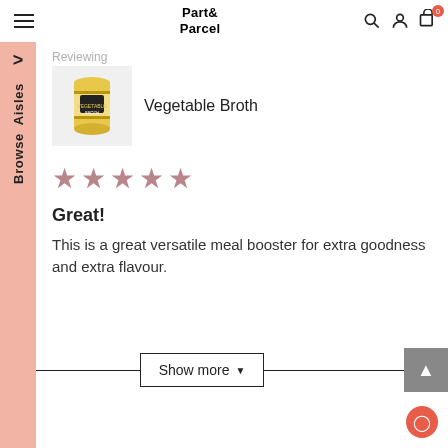Part & Parcel
Reviewing
Vegetable Broth
[Figure (photo): Yellow tin can of Vegetable Broth product]
[Figure (other): 5-star rating display showing 5 filled stars in mauve/pink color]
Great!
This is a great versatile meal booster for extra goodness and extra flavour.
Show more